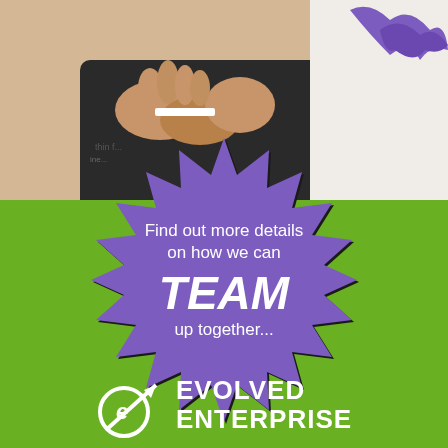[Figure (photo): Photo of a person's hands holding something, with a purple paint splash/mark visible on the right side. Upper portion of the image.]
[Figure (infographic): Purple spiky burst/starburst speech bubble on green background with white text: 'Find out more details on how we can TEAM up together...' and Evolved Enterprise logo at the bottom.]
Find out more details on how we can TEAM up together...
[Figure (logo): Evolved Enterprise logo: circular E icon with an upward arrow and text 'EVOLVED ENTERPRISE' in white on green background.]